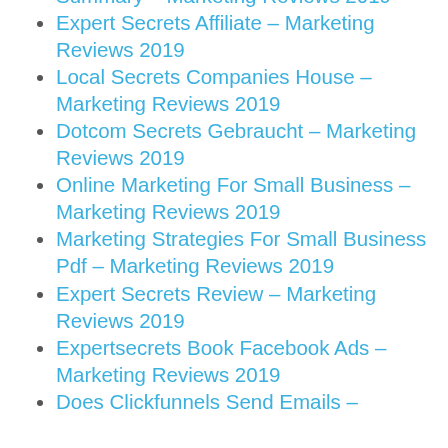Summary – Marketing Reviews 2019
Expert Secrets Affiliate – Marketing Reviews 2019
Local Secrets Companies House – Marketing Reviews 2019
Dotcom Secrets Gebraucht – Marketing Reviews 2019
Online Marketing For Small Business – Marketing Reviews 2019
Marketing Strategies For Small Business Pdf – Marketing Reviews 2019
Expert Secrets Review – Marketing Reviews 2019
Expertsecrets Book Facebook Ads – Marketing Reviews 2019
Does Clickfunnels Send Emails –